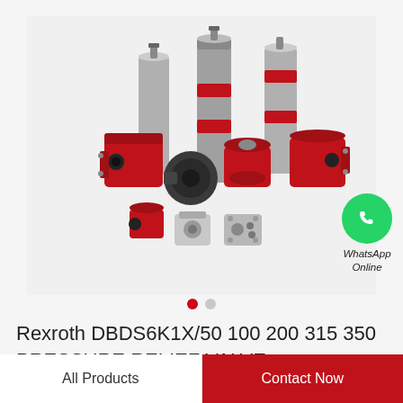[Figure (photo): Collection of red and silver hydraulic pumps and valves of various sizes arranged together on white background]
Rexroth DBDS6K1X/50 100 200 315 350 PRESSURE RELIEF VALVE
All Products
Contact Now